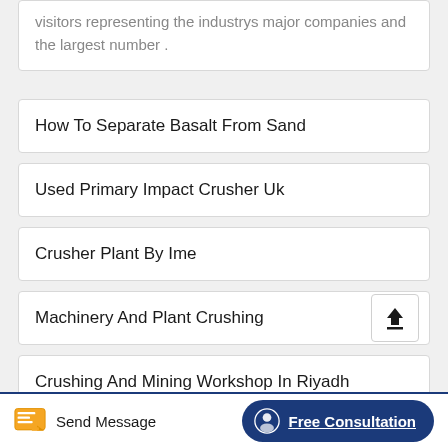visitors representing the industrys major companies and the largest number .
How To Separate Basalt From Sand
Used Primary Impact Crusher Uk
Crusher Plant By Ime
Machinery And Plant Crushing
Crushing And Mining Workshop In Riyadh
Send Message   Free Consultation